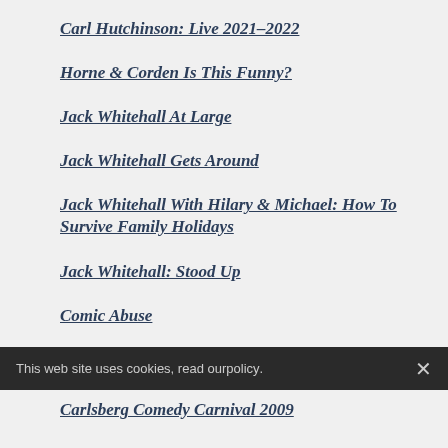Carl Hutchinson: Live 2021–2022
Horne & Corden Is This Funny?
Jack Whitehall At Large
Jack Whitehall Gets Around
Jack Whitehall With Hilary & Michael: How To Survive Family Holidays
Jack Whitehall: Stood Up
Comic Abuse
Richard Sandling: VHS: Death to DVD
This web site uses cookies, read our policy.
Carlsberg Comedy Carnival 2009